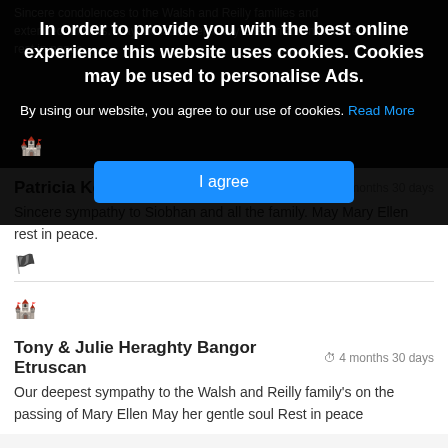Sincere condolences to the Walsh and Reilly families and extended families. May the lord keep Mary Ellen in a comfortable rest in peace.
[Figure (screenshot): Cookie consent banner overlay with dark background. Title: 'In order to provide you with the best online experience this website uses cookies. Cookies may be used to personalise Ads.' With 'Read More' link and 'I agree' button.]
By using our website, you agree to our use of cookies. Read More
Patricia Kelly & Family
4 months 30 days
Sincere sympathy to Siobhan and all the family. May Mary Ellen rest in peace.
Tony & Julie Heraghty Bangor Etruscan
4 months 30 days
Our deepest sympathy to the Walsh and Reilly family's on the passing of Mary Ellen May her gentle soul Rest in peace